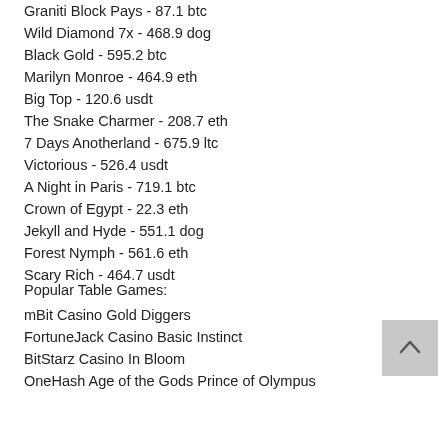Graniti Block Pays - 87.1 btc
Wild Diamond 7x - 468.9 dog
Black Gold - 595.2 btc
Marilyn Monroe - 464.9 eth
Big Top - 120.6 usdt
The Snake Charmer - 208.7 eth
7 Days Anotherland - 675.9 ltc
Victorious - 526.4 usdt
A Night in Paris - 719.1 btc
Crown of Egypt - 22.3 eth
Jekyll and Hyde - 551.1 dog
Forest Nymph - 561.6 eth
Scary Rich - 464.7 usdt
Popular Table Games:
mBit Casino Gold Diggers
FortuneJack Casino Basic Instinct
BitStarz Casino In Bloom
OneHash Age of the Gods Prince of Olympus